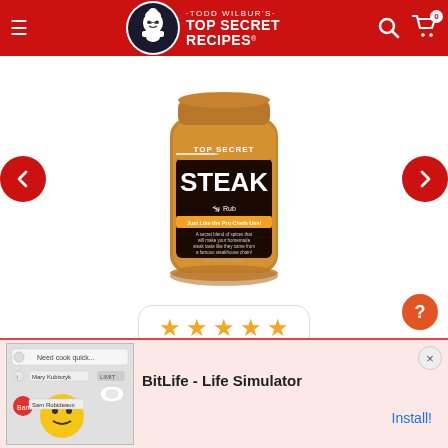Todd Wilbur's Top Secret Recipes - navigation header
[Figure (photo): Top Secret Recipes Steak Rub seasoning container - orange and dark colored cylindrical canister]
[Figure (other): Five gold/orange star rating display]
TOP SECRET STEAK RUB
[Figure (screenshot): Advertisement for BitLife - Life Simulator app with Install! button]